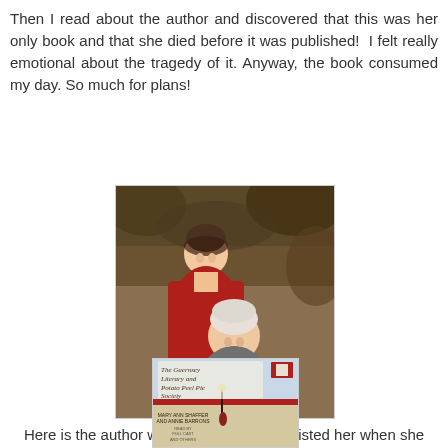Then I read about the author and discovered that this was her only book and that she died before it was published! I felt really emotional about the tragedy of it. Anyway, the book consumed my day. So much for plans!
[Figure (photo): Photo of two women outdoors. A younger woman in a red jacket stands behind an older woman with short white hair, both smiling, with a wooded background.]
Here is the author with the niece who assisted her when she became ill.
[Figure (photo): Book cover of 'The Guernsey Literary and Potato Peel Pie Society' by Mary Ann Shaffer and Annie Barrons, audiobook edition.]